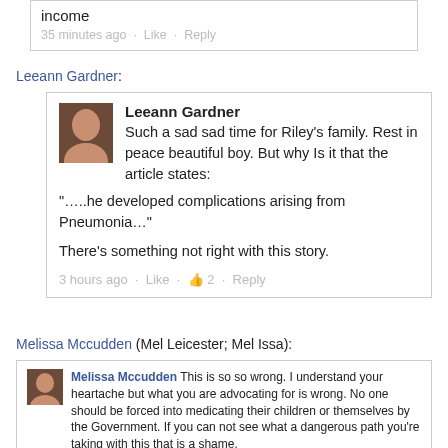[Figure (screenshot): Top of a Facebook comment box showing 'income' text and '35 minutes ago · Like · Reply' meta bar]
Leeann Gardner:
[Figure (screenshot): Facebook comment from Leeann Gardner: 'Such a sad sad time for Riley's family. Rest in peace beautiful boy. But why Is it that the article states: ".....he developed complications arising from Pneumonia..." There's something not right with this story.' — 3 hours ago · Like · 2 · Reply]
Melissa Mccudden (Mel Leicester; Mel Issa):
[Figure (screenshot): Facebook comment from Melissa Mccudden: 'This is so so wrong. I understand your heartache but what you are advocating for is wrong. No one should be forced into medicating their children or themselves by the Government. If you can not see what a dangerous path you're taking with this that is a shame.' — Like · Reply · 14 · 2 hrs]